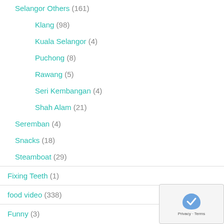Selangor Others (161)
Klang (98)
Kuala Selangor (4)
Puchong (8)
Rawang (5)
Seri Kembangan (4)
Shah Alam (21)
Seremban (4)
Snacks (18)
Steamboat (29)
Fixing Teeth (1)
food video (338)
Funny (3)